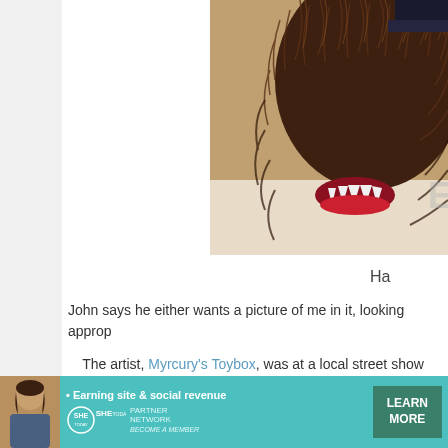[Figure (photo): Close-up photo of a furry monster costume/puppet with brown fur and white teeth/fangs visible, on a light beige background. Watermark reads EPBOT.com.]
Ha
John says he either wants a picture of me in it, looking approp...
The artist, Myrcury's Toybox, was at a local street show event h... tiny monster frames. Check out her Etsy shop for more, plus t... boxes b...
[Figure (screenshot): Advertisement banner for SHE Media Partner Network with teal background, a woman's photo, bullet point 'Earning site & social revenue', SHE TODAY logo, and a dark green LEARN MORE button.]